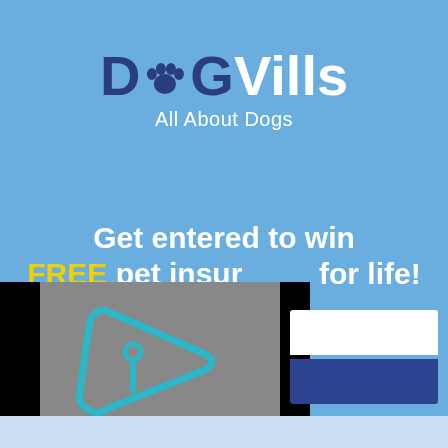[Figure (logo): DogVills logo with paw print replacing the 'o', dark blue 'D' and 'G', white 'Vills', tagline 'All About Dogs' in white]
Get entered to win FREE pet insurance for life!
[Figure (screenshot): Overlapping media player screenshot with cyan/teal play button icon on gray background, black side bars, and a Facebook-style panel with white and dark blue bars on the right]